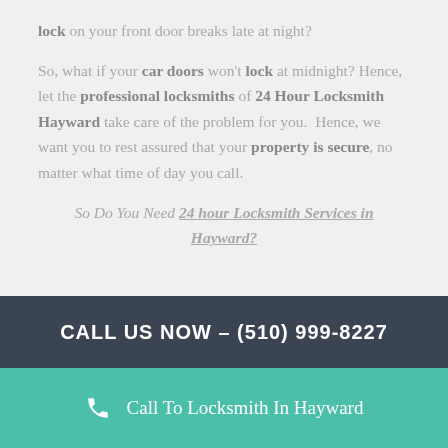lock on your front door breaks late at night?
So, what if your car doors won't lock at midnight? Hence, let the professional locksmiths of 24 Hour Locksmith Hayward take care of the problem for you.  Hence, we want you to rest assured that your property is secure, no matter what time of day you call.
So Do You Need 24 hour Locksmith Services in Hayward?
CALL US NOW – (510) 999-8227
Call To Locksmith In Hayward